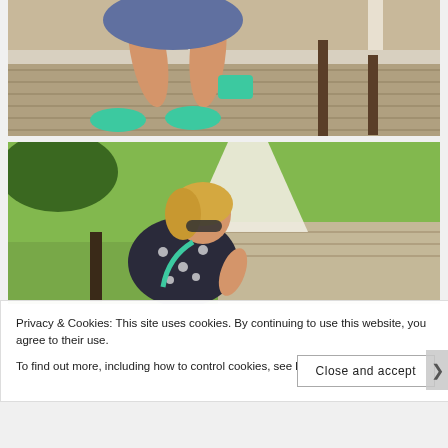[Figure (photo): Close-up photo of a person's legs wearing green/teal high-heel shoes, sitting on a wooden deck. A dark chair and wooden deck boards are visible.]
[Figure (photo): Photo of a blonde woman wearing sunglasses and a dark floral dress, sitting on a wooden deck/porch area with green grass lawn visible in the background. A teal/green bag strap is visible around her.]
Privacy & Cookies: This site uses cookies. By continuing to use this website, you agree to their use.
To find out more, including how to control cookies, see here: Cookie Policy
Close and accept